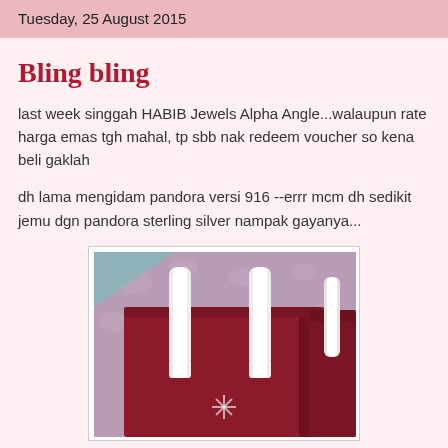Tuesday, 25 August 2015
Bling bling
last week singgah HABIB Jewels Alpha Angle...walaupun rate harga emas tgh mahal, tp sbb nak redeem voucher so kena beli gaklah
dh lama mengidam pandora versi 916 --errr mcm dh sedikit jemu dgn pandora sterling silver nampak gayanya...
[Figure (photo): A dark red/maroon shopping bag with white ribbon handles, placed on a floral patterned purple/lilac background. The bag appears to be a HABIB Jewels shopping bag.]